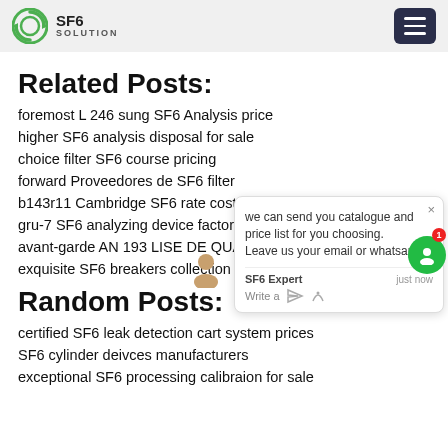SF6 SOLUTION
Related Posts:
foremost L 246 sung SF6 Analysis price
higher SF6 analysis disposal for sale
choice filter SF6 course pricing
forward Proveedores de SF6 filter
b143r11 Cambridge SF6 rate cost
gru-7 SF6 analyzing device factory
avant-garde AN 193 LISE DE QUALIDA 3 S SF6 unit
exquisite SF6 breakers collection factory
Random Posts:
certified SF6 leak detection cart system prices
SF6 cylinder deivces manufacturers
exceptional SF6 processing calibraion for sale